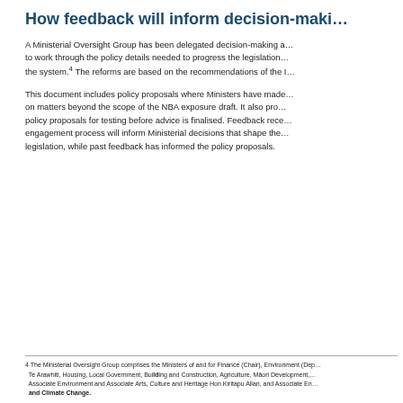How feedback will inform decision-maki...
A Ministerial Oversight Group has been delegated decision-making a... to work through the policy details needed to progress the legislation... the system.4 The reforms are based on the recommendations of the I...
This document includes policy proposals where Ministers have made... on matters beyond the scope of the NBA exposure draft. It also pro... policy proposals for testing before advice is finalised. Feedback rece... engagement process will inform Ministerial decisions that shape the... legislation, while past feedback has informed the policy proposals.
4 The Ministerial Oversight Group comprises the Ministers of and for Finance (Chair), Environment (Dep... Te Arawhiti, Housing, Local Government, Building and Construction, Agriculture, Māori Development,... Associate Environment and Associate Arts, Culture and Heritage Hon Kiritapu Allan, and Associate En... and Climate Change.